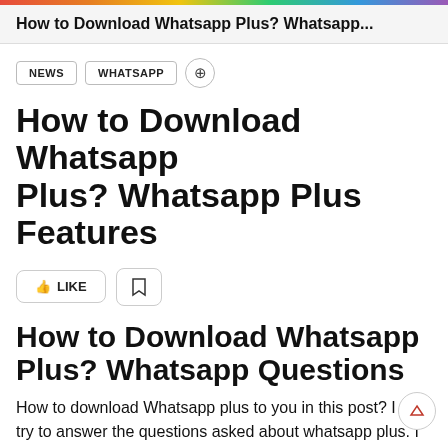How to Download Whatsapp Plus? Whatsapp...
NEWS
WHATSAPP
How to Download Whatsapp Plus? Whatsapp Plus Features
How to Download Whatsapp Plus? Whatsapp Questions
How to download Whatsapp plus to you in this post? I will try to answer the questions asked about whatsapp plus. I have compiled all the questions you asked me on